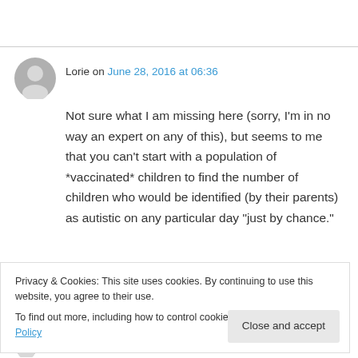Lorie on June 28, 2016 at 06:36
Not sure what I am missing here (sorry, I'm in no way an expert on any of this), but seems to me that you can't start with a population of *vaccinated* children to find the number of children who would be identified (by their parents) as autistic on any particular day "just by chance."
Privacy & Cookies: This site uses cookies. By continuing to use this website, you agree to their use.
To find out more, including how to control cookies, see here: Cookie Policy
Close and accept
Jason on June 28, 2016 at 07:16